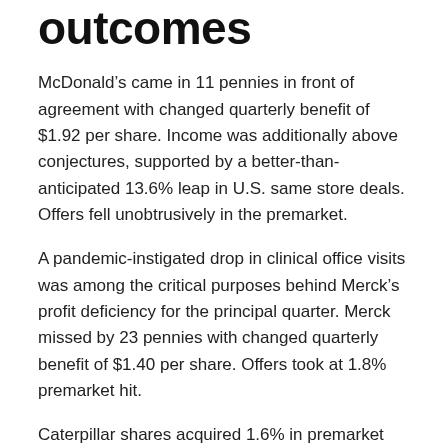outcomes
McDonald’s came in 11 pennies in front of agreement with changed quarterly benefit of $1.92 per share. Income was additionally above conjectures, supported by a better-than-anticipated 13.6% leap in U.S. same store deals. Offers fell unobtrusively in the premarket.
A pandemic-instigated drop in clinical office visits was among the critical purposes behind Merck’s profit deficiency for the principal quarter. Merck missed by 23 pennies with changed quarterly benefit of $1.40 per share. Offers took at 1.8% premarket hit.
Caterpillar shares acquired 1.6% in premarket exchanging after the weighty gear creator beat assesses by almost a dollar with changed quarterly benefit of $2.87 per share. Income was likewise above conjectures, as a monetary recuperation prodded interest for gear.
4.Apple, Facebook shares flood after solid profit